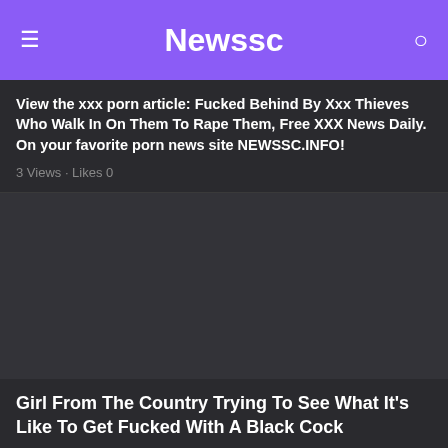Newssc
View the xxx porn article: Fucked Behind By Xxx Thieves Who Walk In On Them To Rape Them, Free XXX News Daily. On your favorite porn news site NEWSSC.INFO!
3 Views · Likes 0
[Figure (photo): Dark placeholder image area for article thumbnail]
Girl From The Country Trying To See What It's Like To Get Fucked With A Black Cock
View the xxx porn article: Girl From The Country Trying To See What It's Like To Get Fucked With A Black Cock, XXX News Daily. On your favorite porn news site